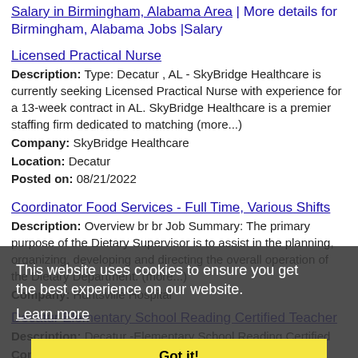Salary in Birmingham, Alabama Area | More details for Birmingham, Alabama Jobs |Salary
Licensed Practical Nurse
Description: Type: Decatur , AL - SkyBridge Healthcare is currently seeking Licensed Practical Nurse with experience for a 13-week contract in AL. SkyBridge Healthcare is a premier staffing firm dedicated to matching (more...)
Company: SkyBridge Healthcare
Location: Decatur
Posted on: 08/21/2022
Coordinator Food Services - Full Time, Various Shifts
Description: Overview br br Job Summary: The primary purpose of the Dietary Supervisor is to assist in the planning, organizing, developing and directing the overall operation of the Dietary Department. (more...)
Company: Huntsville Hospital
Location: Decatur
Posted on: 08/21/2022
This website uses cookies to ensure you get the best experience on our website. Learn more
Got it!
Decatur Elementary School Reading Certified Teacher
Description: Decatur -Elementary School Reading Certified
Company: Varsity Tutors